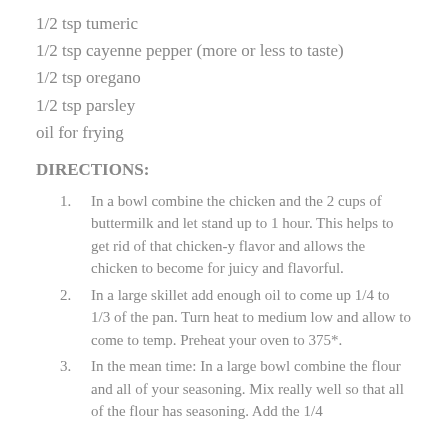1/2 tsp tumeric
1/2 tsp cayenne pepper (more or less to taste)
1/2 tsp oregano
1/2 tsp parsley
oil for frying
DIRECTIONS:
In a bowl combine the chicken and the 2 cups of buttermilk and let stand up to 1 hour. This helps to get rid of that chicken-y flavor and allows the chicken to become for juicy and flavorful.
In a large skillet add enough oil to come up 1/4 to 1/3 of the pan. Turn heat to medium low and allow to come to temp. Preheat your oven to 375*.
In the mean time: In a large bowl combine the flour and all of your seasoning. Mix really well so that all of the flour has seasoning. Add the 1/4